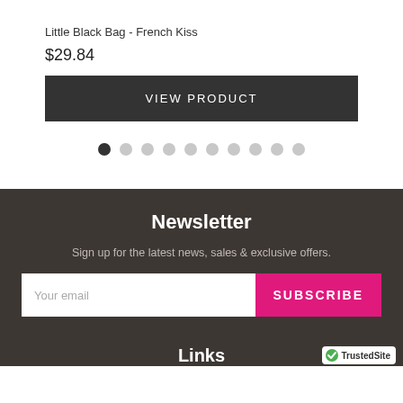Little Black Bag - French Kiss
$29.84
VIEW PRODUCT
[Figure (other): Carousel pagination dots: 10 dots, first dot is filled/dark, rest are light grey]
Newsletter
Sign up for the latest news, sales & exclusive offers.
Your email
SUBSCRIBE
Links
[Figure (logo): TrustedSite badge with green checkmark]